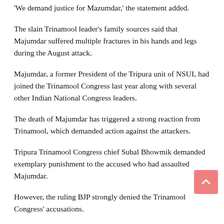'We demand justice for Mazumdar,' the statement added.
The slain Trinamool leader's family sources said that Majumdar suffered multiple fractures in his hands and legs during the August attack.
Majumdar, a former President of the Tripura unit of NSUI, had joined the Trinamool Congress last year along with several other Indian National Congress leaders.
The death of Majumdar has triggered a strong reaction from Trinamool, which demanded action against the attackers.
Tripura Trinamool Congress chief Subal Bhowmik demanded exemplary punishment to the accused who had assaulted Majumdar.
However, the ruling BJP strongly denied the Trinamool Congress' accusations.
BJP spokesman Nabendu Bhattacharjee said that his party workers were in no way involved in the attack on